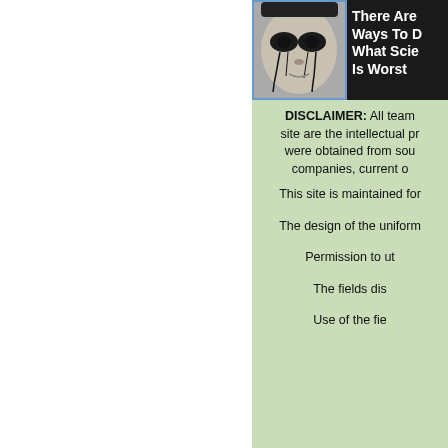[Figure (illustration): Banner image split into two parts: left side shows a black and white photo of a person with dark eye makeup/markings, right side shows dark background with white bold text reading 'There Are Ways To D... What Scie... Is Worst']
DISCLAIMER: All team site are the intellectual pr... were obtained from sou... companies, current o...
This site is maintained for...
The design of the uniform...
Permission to ut...
The fields dis...
Use of the fie...